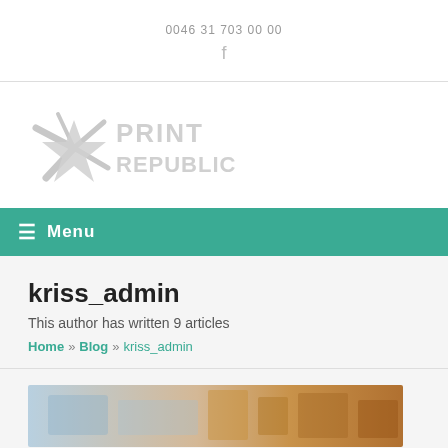0046 31 703 00 00
[Figure (logo): Print Republic logo with star/spark graphic on left and stylized white text PRINT REPUBLIC on right]
≡ Menu
kriss_admin
This author has written 9 articles
Home » Blog » kriss_admin
[Figure (photo): Partial view of a photo at the bottom of the page, showing what appears to be a printing or craft workspace]